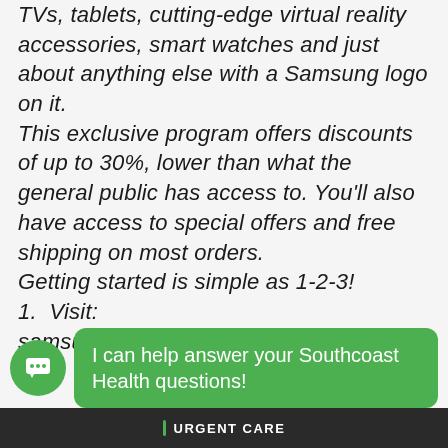TVs, tablets, cutting-edge virtual reality accessories, smart watches and just about anything else with a Samsung logo on it. This exclusive program offers discounts of up to 30%, lower than what the general public has access to. You'll also have access to special offers and free shipping on most orders. Getting started is simple as 1-2-3! 1. Visit: samsung.com/us/shop/workplacediscount
I can help answer your Southcoast Health questions!
URGENT CARE